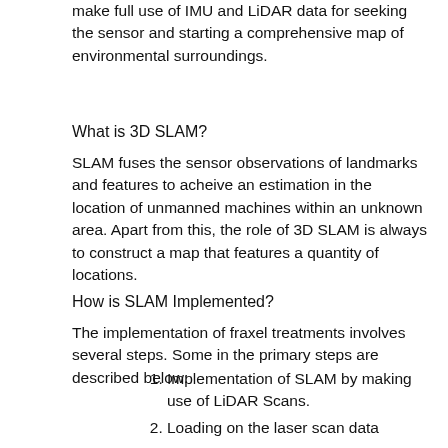make full use of IMU and LiDAR data for seeking the sensor and starting a comprehensive map of environmental surroundings.
What is 3D SLAM?
SLAM fuses the sensor observations of landmarks and features to acheive an estimation in the location of unmanned machines within an unknown area. Apart from this, the role of 3D SLAM is always to construct a map that features a quantity of locations.
How is SLAM Implemented?
The implementation of fraxel treatments involves several steps. Some in the primary steps are described below:
Implementation of SLAM by making use of LiDAR Scans.
Loading on the laser scan data
Starting SLAM algorithm, creating an